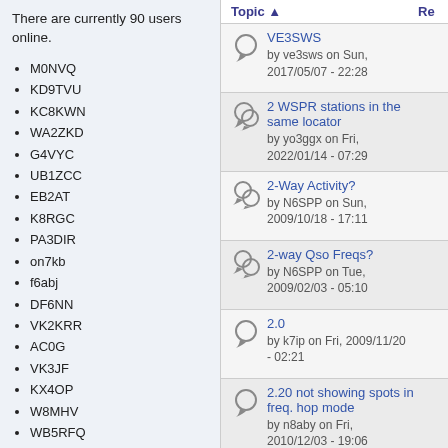There are currently 90 users online.
M0NVQ
KD9TVU
KC8KWN
WA2ZKD
G4VYC
UB1ZCC
EB2AT
K8RGC
PA3DIR
on7kb
f6abj
DF6NN
VK2KRR
AC0G
VK3JF
KX4OP
W8MHV
WB5RFQ
2E0FWE
W0yse
BV2AP
S57MK
ja9mat
zl2mws
| Topic | Re |
| --- | --- |
| VE3SWS
by ve3sws on Sun, 2017/05/07 - 22:28 |  |
| 2 WSPR stations in the same locator
by yo3ggx on Fri, 2022/01/14 - 07:29 |  |
| 2-Way Activity?
by N6SPP on Sun, 2009/10/18 - 17:11 |  |
| 2-way Qso Freqs?
by N6SPP on Tue, 2009/02/03 - 05:10 |  |
| 2.0
by k7ip on Fri, 2009/11/20 - 02:21 |  |
| 2.20 not showing spots in freq. hop mode
by n8aby on Fri, 2010/12/03 - 19:06 |  |
| 20 mmeter DX test
by W6WO on Mon, |  |